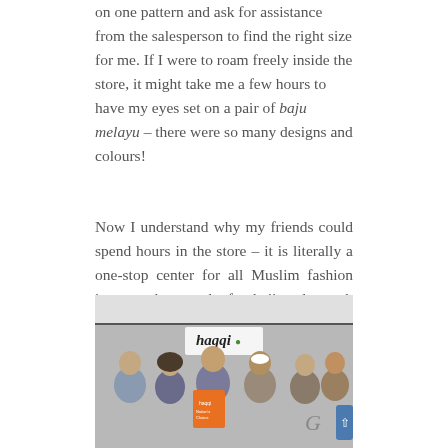on one pattern and ask for assistance from the salesperson to find the right size for me. If I were to roam freely inside the store, it might take me a few hours to have my eyes set on a pair of baju melayu – there were so many designs and colours!
Now I understand why my friends could spend hours in the store – it is literally a one-stop center for all Muslim fashion items and not only for hajj and umrah necessities. They have the latest fashion items for male, female and for children here – it will be very easy to find a colour theme clothes for the whole family!
[Figure (photo): Group of people at an event under a tent, with a 'haqqi' branded banner/sign visible. A person in the center is holding up a book or brochure. Several men and a woman in hijab are present.]